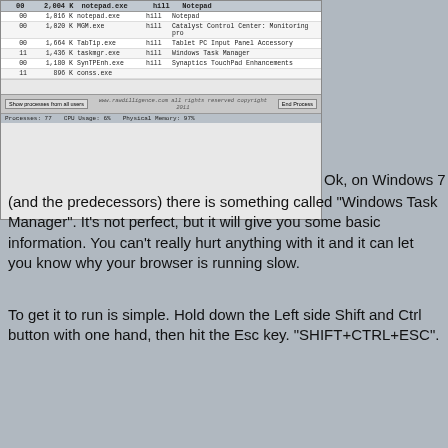[Figure (screenshot): Windows Task Manager screenshot showing Processes tab with a list of running processes including notepad.exe, MGM.exe, TabTip.exe, taskmgr.exe, SynTPEnh.exe, conss.exe with their CPU and memory usage. Footer shows Processes: 77, CPU Usage: 6%, Physical Memory: 97%.]
Ok, on Windows 7 (and the predecessors) there is something called "Windows Task Manager".  It's not perfect, but it will give you some basic information.  You can't really hurt anything with it and it can let you know why your browser is running slow.
To get it to run is simple.  Hold down the Left side Shift and Ctrl button with one hand, then hit the Esc key. "SHIFT+CTRL+ESC".
A window will pop up that has the list of Applications that are running that you should know of just by looking at your PC.  To find out the juicy stuff, look at the second tab called "Processes" by clicking on it.
The Processes tab will have a list of all of the things that are running that you can see plus all of the things that you can't see.  There are usually a few things that are behind the